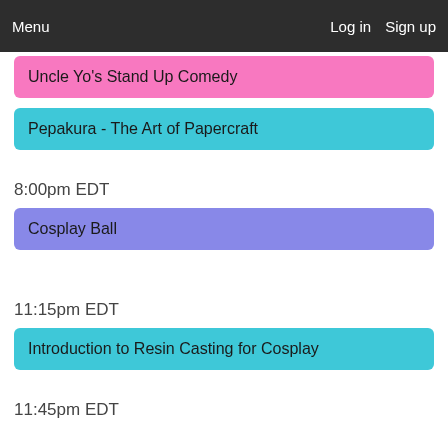Menu   Log in   Sign up
Uncle Yo's Stand Up Comedy
Pepakura - The Art of Papercraft
8:00pm EDT
Cosplay Ball
11:15pm EDT
Introduction to Resin Casting for Cosplay
11:45pm EDT